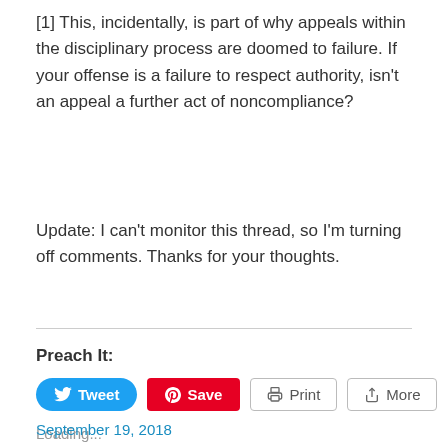[1] This, incidentally, is part of why appeals within the disciplinary process are doomed to failure. If your offense is a failure to respect authority, isn't an appeal a further act of noncompliance?
Update: I can't monitor this thread, so I'm turning off comments. Thanks for your thoughts.
Preach It:
Loading...
September 19, 2018